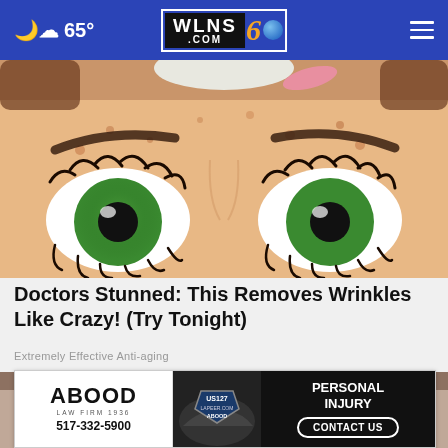☁ 65°  WLNS6.COM  ≡
[Figure (illustration): Cartoon illustration of a woman's face close-up showing eyes with green irises, long eyelashes, eyebrows, and skin with spots/imperfections. A white cream/towel and pink element visible at top.]
Doctors Stunned: This Removes Wrinkles Like Crazy! (Try Tonight)
Extremely Effective Anti-aging
[Figure (photo): Blurred close-up photo of a person's face looking upward, with a close (x) button overlay in dark gray circle.]
[Figure (other): ABOOD LAW FIRM advertisement banner. Left: ABOOD LAW FIRM 1936, 517-332-5900. Middle: car accident photo with US127 LAPEER.COM ABOOD shield badge. Right: PERSONAL INJURY CONTACT US button.]